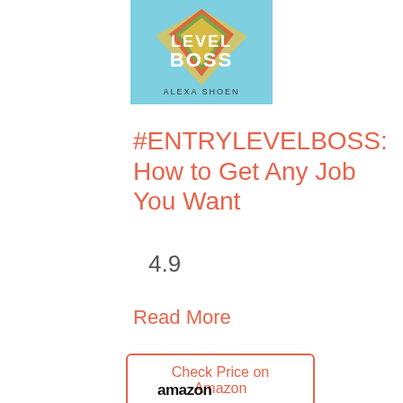[Figure (illustration): Book cover for '#ENTRYLEVELBOSS: How to Get Any Job You Want' by Alexa Shoen. Features the text 'LEVEL BOSS' in bold colorful letters on a light blue background with a gradient graphic element.]
#ENTRYLEVELBOSS: How to Get Any Job You Want
4.9
Read More
Check Price on Amazon
[Figure (logo): Amazon logo in bold black text]